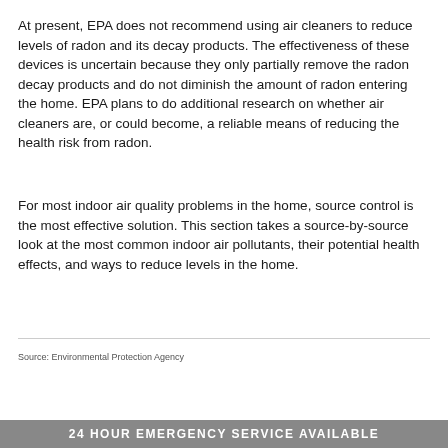At present, EPA does not recommend using air cleaners to reduce levels of radon and its decay products. The effectiveness of these devices is uncertain because they only partially remove the radon decay products and do not diminish the amount of radon entering the home. EPA plans to do additional research on whether air cleaners are, or could become, a reliable means of reducing the health risk from radon.
For most indoor air quality problems in the home, source control is the most effective solution. This section takes a source-by-source look at the most common indoor air pollutants, their potential health effects, and ways to reduce levels in the home.
Source: Environmental Protection Agency
24 HOUR EMERGENCY SERVICE AVAILABLE